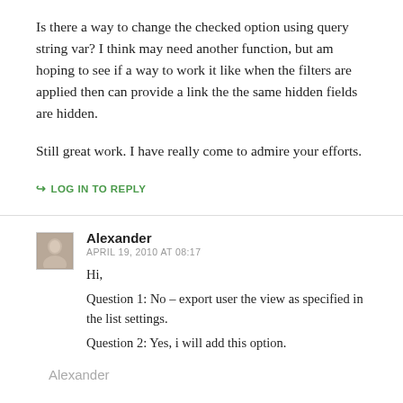Is there a way to change the checked option using query string var? I think may need another function, but am hoping to see if a way to work it like when the filters are applied then can provide a link the the same hidden fields are hidden.
Still great work. I have really come to admire your efforts.
↳ LOG IN TO REPLY
Alexander
APRIL 19, 2010 AT 08:17
Hi,
Question 1: No – export user the view as specified in the list settings.
Question 2: Yes, i will add this option.
Alexander